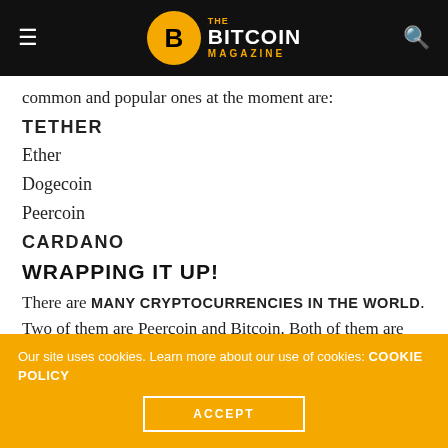THE BITCOIN MAGAZINE
common and popular ones at the moment are:
TETHER
Ether
Dogecoin
Peercoin
CARDANO
WRAPPING IT UP!
There are MANY CRYPTOCURRENCIES IN THE WORLD. Two of them are Peercoin and Bitcoin. Both of them are based on the same framework. However, they are
Our site uses cookies. Learn more about our use of cookies: COOKIE POLICY
ACCEPT